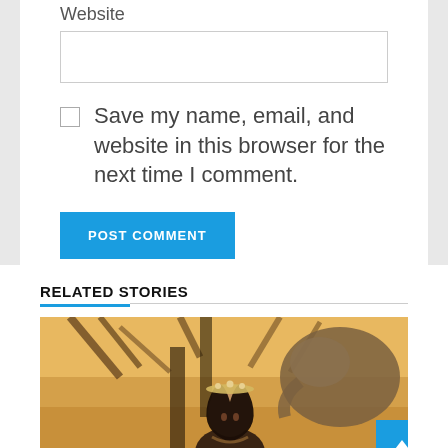Website
Save my name, email, and website in this browser for the next time I comment.
POST COMMENT
RELATED STORIES
[Figure (photo): A young woman with long dark hair wearing a decorative headpiece, photographed outdoors among trees with warm golden-orange tones. An elephant is partially visible in the background.]